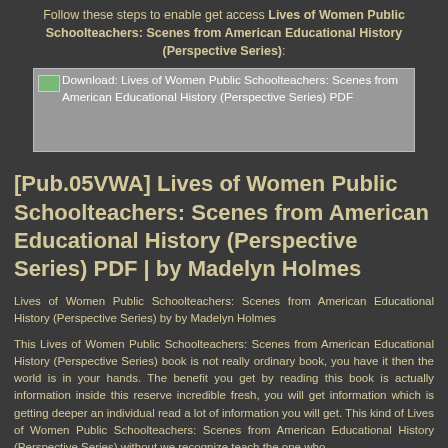Follow these steps to enable get access Lives of Women Public Schoolteachers: Scenes from American Educational History (Perspective Series):
[Figure (screenshot): Broken image placeholder showing text: Download: Lives of Women Public Schoolteachers: Scenes from American Educational History (Perspective Series) PDF]
[Pub.05VWA] Lives of Women Public Schoolteachers: Scenes from American Educational History (Perspective Series) PDF | by Madelyn Holmes
Lives of Women Public Schoolteachers: Scenes from American Educational History (Perspective Series) by by Madelyn Holmes
This Lives of Women Public Schoolteachers: Scenes from American Educational History (Perspective Series) book is not really ordinary book, you have it then the world is in your hands. The benefit you get by reading this book is actually information inside this reserve incredible fresh, you will get information which is getting deeper an individual read a lot of information you will get. This kind of Lives of Women Public Schoolteachers: Scenes from American Educational History (Perspective Series) without we recognize teach the one who